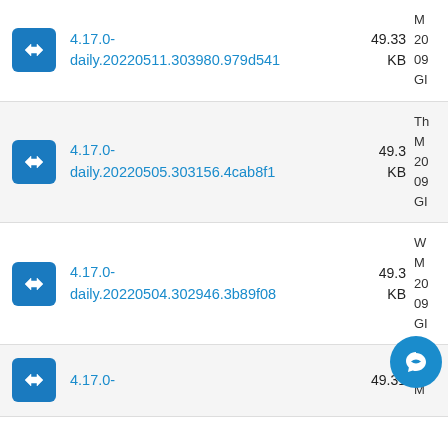4.17.0-daily.20220511.303980.979d541 49.33 KB
4.17.0-daily.20220505.303156.4cab8f1 49.3 KB
4.17.0-daily.20220504.302946.3b89f08 49.3 KB
4.17.0- 49.31